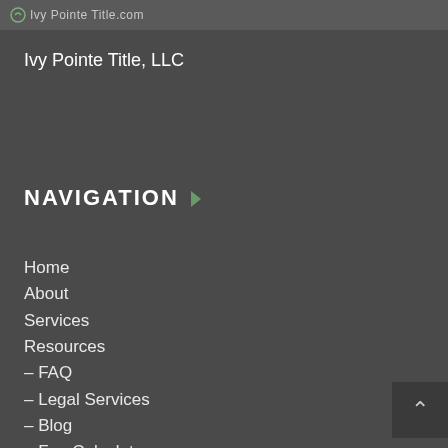IvyPointeTitle.com
Ivy Pointe Title, LLC
NAVIGATION
Home
About
Services
Resources
– FAQ
– Legal Services
– Blog
– Fee Calculator
Connect